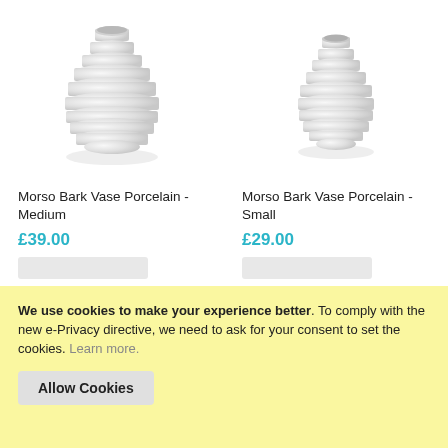[Figure (photo): White ribbed ceramic vase (Morso Bark Vase Porcelain - Medium) on white background]
[Figure (photo): White ribbed ceramic vase (Morso Bark Vase Porcelain - Small) on white background]
Morso Bark Vase Porcelain - Medium
£39.00
Morso Bark Vase Porcelain - Small
£29.00
We use cookies to make your experience better. To comply with the new e-Privacy directive, we need to ask for your consent to set the cookies. Learn more.
Allow Cookies